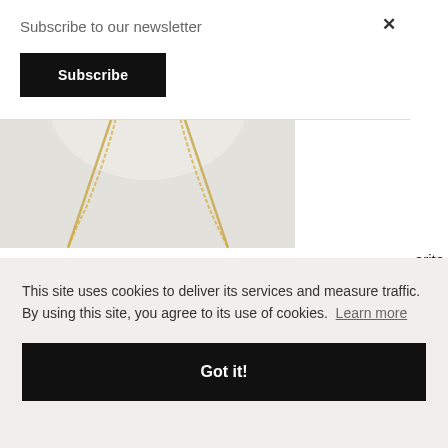[Figure (photo): Gold chain necklace hanging against a light grey/white background, showing the V-shape of the chain]
This site uses cookies to deliver its services and measure traffic. By using this site, you agree to its use of cookies. Learn more
Subscribe to our newsletter
Subscribe
Got it!
...orite ...l to ...en't heavy. Heavy necklaces drive me nuts! If you've